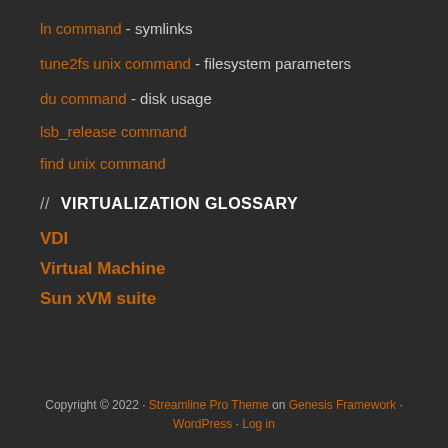ln command - symlinks
tune2fs unix command - filesystem parameters
du command - disk usage
lsb_release command
find unix command
// VIRTUALIZATION GLOSSARY
VDI
Virtual Machine
Sun xVM suite
Copyright © 2022 · Streamline Pro Theme on Genesis Framework · WordPress · Log in